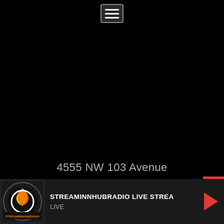[Figure (screenshot): Hamburger menu icon button — three white horizontal lines on dark gray rounded rectangle]
4555 NW 103 Avenue
Suite 100
Sunrise, FL 33351
[Figure (screenshot): Red progress/seek bar with dot indicator and red X close button on right]
[Figure (logo): StreaminnHub Radio logo — circular flame/bird icon with 'STREAMINNHUBRADIO' text]
STREAMINNHUBRADIO LIVE STREA
LIVE